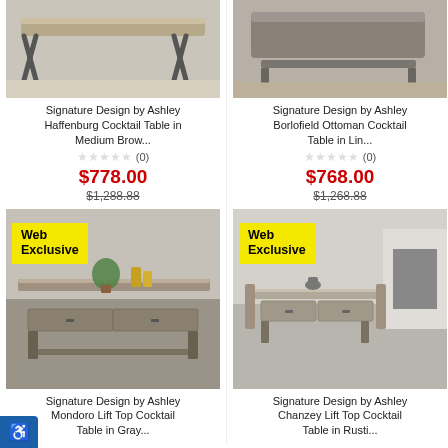[Figure (photo): Signature Design by Ashley Haffenburg Cocktail Table in medium brown wood with X-shaped metal legs on a light rug]
[Figure (photo): Signature Design by Ashley Borlofield Ottoman Cocktail Table in linen fabric with storage shelf below, on a plaid rug]
Signature Design by Ashley Haffenburg Cocktail Table in Medium Brow...
Signature Design by Ashley Borlofield Ottoman Cocktail Table in Lin...
★★★★★ (0)
★★★★★ (0)
$778.00
$768.00
$1,288.88
$1,268.88
[Figure (photo): Signature Design by Ashley Mondoro Lift Top Cocktail Table in gray/brown, with Web Exclusive badge]
[Figure (photo): Signature Design by Ashley Chanzey Lift Top Cocktail Table in rustic finish, with Web Exclusive badge]
Signature Design by Ashley Mondoro Lift Top Cocktail Table in Gray...
Signature Design by Ashley Chanzey Lift Top Cocktail Table in Rusti...